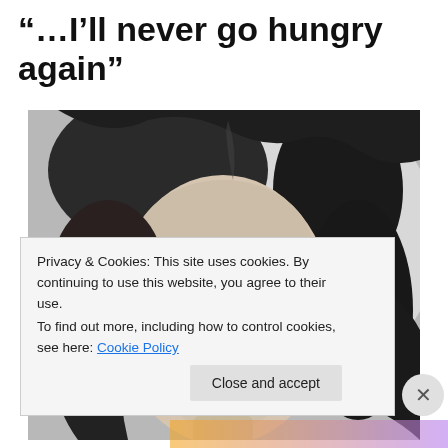“…I’ll never go hungry again”
[Figure (photo): Black and white portrait photograph of a woman with dark curled hair, smiling, looking upward slightly. Vintage style, appears to be from mid-20th century.]
Privacy & Cookies: This site uses cookies. By continuing to use this website, you agree to their use.
To find out more, including how to control cookies, see here: Cookie Policy
Close and accept